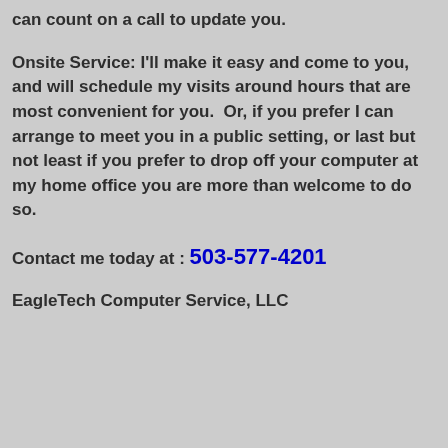can count on a call to update you.
Onsite Service: I'll make it easy and come to you, and will schedule my visits around hours that are most convenient for you.  Or, if you prefer I can arrange to meet you in a public setting, or last but not least if you prefer to drop off your computer at my home office you are more than welcome to do so.
Contact me today at : 503-577-4201
EagleTech Computer Service, LLC